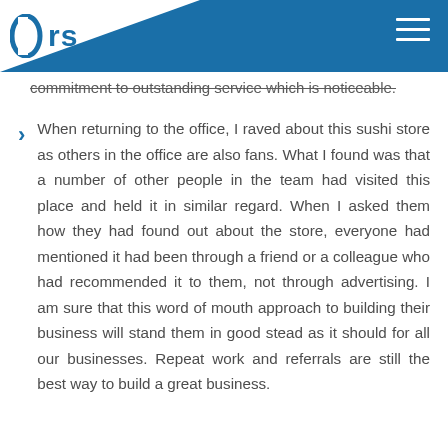brs [logo]
commitment to outstanding service which is noticeable.
When returning to the office, I raved about this sushi store as others in the office are also fans. What I found was that a number of other people in the team had visited this place and held it in similar regard. When I asked them how they had found out about the store, everyone had mentioned it had been through a friend or a colleague who had recommended it to them, not through advertising. I am sure that this word of mouth approach to building their business will stand them in good stead as it should for all our businesses. Repeat work and referrals are still the best way to build a great business.